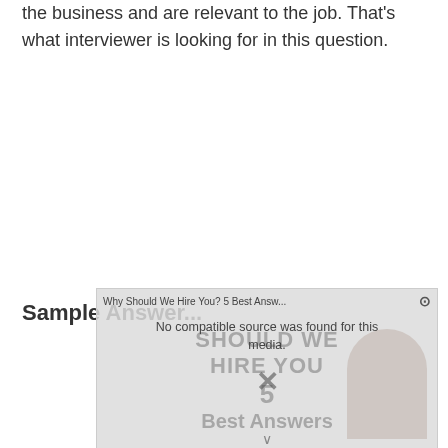the business and are relevant to the job. That's what interviewer is looking for in this question.
Sample Answer...
[Figure (screenshot): Video player overlay showing 'Why Should We Hire You? 5 Best Answ...' with 'No compatible source was found for this media.' message and background graphic text 'SHOULD WE HIRE YOU' with '5 Best Answers' and a close (X) button.]